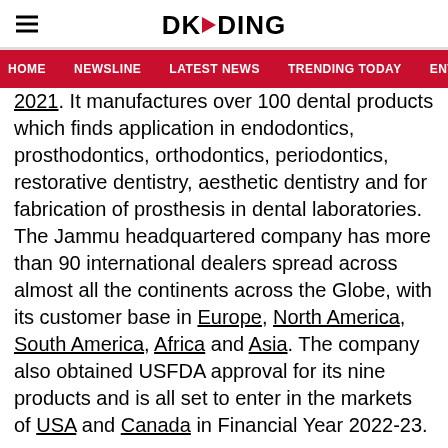DKODING
HOME   NEWSLINE   LATEST NEWS   TRENDING TODAY   ENT
2021. It manufactures over 100 dental products which finds application in endodontics, prosthodontics, orthodontics, periodontics, restorative dentistry, aesthetic dentistry and for fabrication of prosthesis in dental laboratories. The Jammu headquartered company has more than 90 international dealers spread across almost all the continents across the Globe, with its customer base in Europe, North America, South America, Africa and Asia. The company also obtained USFDA approval for its nine products and is all set to enter in the markets of USA and Canada in Financial Year 2022-23.